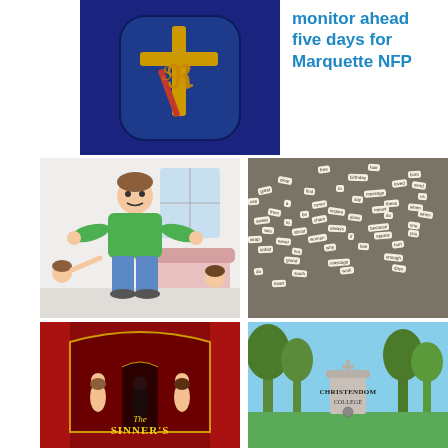[Figure (photo): Catholic badge/emblem on dark blue background with cross and letters, gold and red design]
monitor ahead five days for Marquette NFP
[Figure (illustration): Cartoon illustration of a man in green shirt and jeans standing with hands on hips, people around him]
[Figure (photo): Photo of many small paper word chips/tiles scattered on a dark surface]
[Figure (illustration): Book cover: 'The Sinner's' with illustrated figures on dark red background]
[Figure (photo): Photo of Christendom College entrance sign with trees in background]